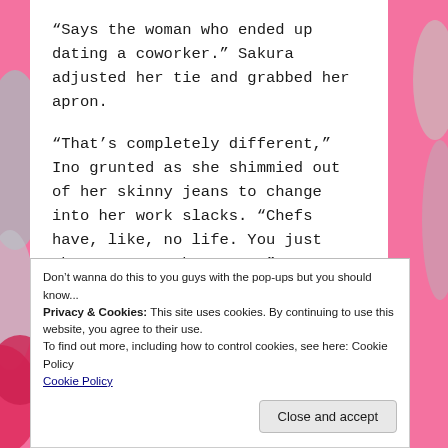“Says the woman who ended up dating a coworker.” Sakura adjusted her tie and grabbed her apron.
“That’s completely different,” Ino grunted as she shimmied out of her skinny jeans to change into her work slacks. “Chefs have, like, no life. You just choose to not have one.”
“I do not,” Sakura denied. “Stop making me look
Don’t wanna do this to you guys with the pop-ups but you should know...
Privacy & Cookies: This site uses cookies. By continuing to use this website, you agree to their use.
To find out more, including how to control cookies, see here: Cookie Policy
Cookie Policy
Close and accept